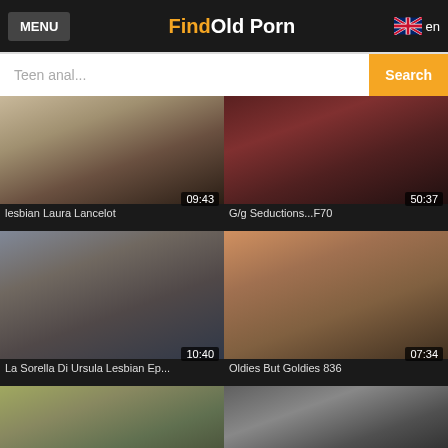MENU | FindOld Porn | en
Teen anal... Search
[Figure (screenshot): Video thumbnail: lesbian Laura Lancelot, duration 09:43]
lesbian Laura Lancelot
[Figure (screenshot): Video thumbnail: G/g Seductions...F70, duration 50:37]
G/g Seductions...F70
[Figure (screenshot): Video thumbnail: La Sorella Di Ursula Lesbian Ep..., duration 10:40]
La Sorella Di Ursula Lesbian Ep...
[Figure (screenshot): Video thumbnail: Oldies But Goldies 836, duration 07:34]
Oldies But Goldies 836
[Figure (screenshot): Video thumbnail, duration 51:01]
[Figure (screenshot): Video thumbnail, duration 03:47]